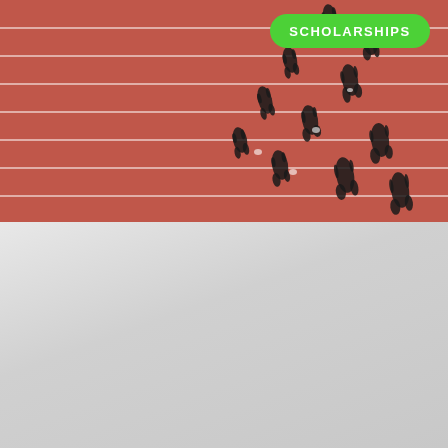[Figure (photo): Aerial top-down view of runners on a red athletic track with white lane lines. Multiple athletes cast dark shadows as they run diagonally across the lanes. A green pill-shaped badge with text 'SCHOLARSHIPS' is overlaid in the upper-right area of the image.]
SCHOLARSHIPS